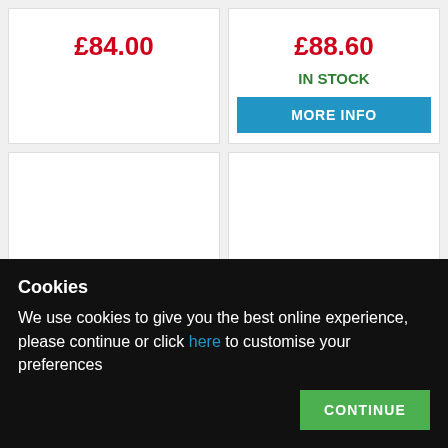£84.00
£88.60
IN STOCK
MORE INFO
[Figure (other): Product image area for Protection Racket 22in Bass Drum Case, 17in]
Protection Racket 22in Bass Drum Case, 17in
[Figure (other): Product image area for GEWA Premium Bass Drum Bag 22x14in]
GEWA Premium Bass Drum Bag 22x14in
Cookies
We use cookies to give you the best online experience, please continue or click here to customise your preferences
CONTINUE